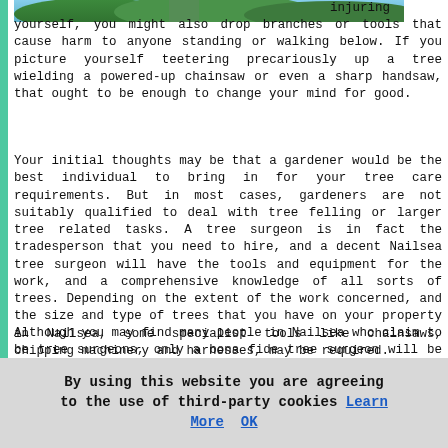[Figure (photo): Partial view of a person in a tree, outdoor greenery background]
injuring yourself, you might also drop branches or tools that cause harm to anyone standing or walking below. If you picture yourself teetering precariously up a tree wielding a powered-up chainsaw or even a sharp handsaw, that ought to be enough to change your mind for good.
Your initial thoughts may be that a gardener would be the best individual to bring in for your tree care requirements. But in most cases, gardeners are not suitably qualified to deal with tree felling or larger tree related tasks. A tree surgeon is in fact the tradesperson that you need to hire, and a decent Nailsea tree surgeon will have the tools and equipment for the work, and a comprehensive knowledge of all sorts of trees. Depending on the extent of the work concerned, and the size and type of trees that you have on your property in Nailsea, some specialist tools like chainsaws, chipping machinery and harnesses, may be required.
Although you may find many people in Nailsea who claim to be tree surgeons, only a bona fide tree surgeon will be competent in using such tools and machinery, will be a qualified arborist and will be able to show you
By using this website you are agreeing to the use of third-party cookies Learn More OK